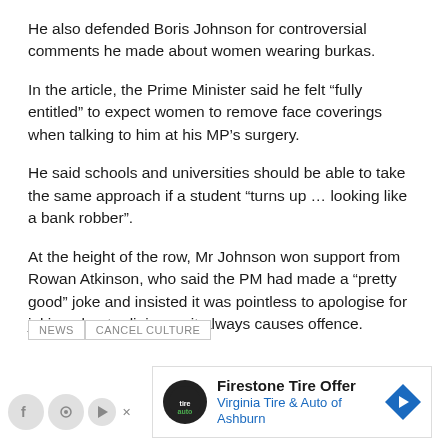He also defended Boris Johnson for controversial comments he made about women wearing burkas.
In the article, the Prime Minister said he felt “fully entitled” to expect women to remove face coverings when talking to him at his MP’s surgery.
He said schools and universities should be able to take the same approach if a student “turns up … looking like a bank robber”.
At the height of the row, Mr Johnson won support from Rowan Atkinson, who said the PM had made a “pretty good” joke and insisted it was pointless to apologise for joking about religion as it always causes offence.
NEWS   CANCEL CULTURE
[Figure (other): Advertisement: Firestone Tire Offer - Virginia Tire & Auto of Ashburn]